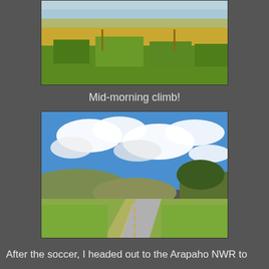[Figure (photo): Outdoor landscape photo showing green and golden prairie grasses under a pale blue sky with distant hills]
Mid-morning climb!
[Figure (photo): Outdoor landscape photo showing a paved road curving through a valley with green hills, blue sky and white clouds]
After the soccer, I headed out to the Arapaho NWR to